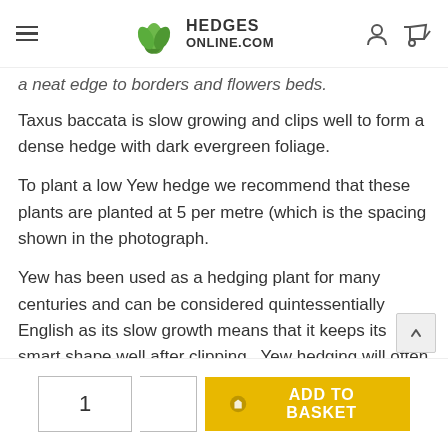HEDGES ONLINE.COM
a neat edge to borders and flowers beds.
Taxus baccata is slow growing and clips well to form a dense hedge with dark evergreen foliage.
To plant a low Yew hedge we recommend that these plants are planted at 5 per metre (which is the spacing shown in the photograph.
Yew has been used as a hedging plant for many centuries and can be considered quintessentially English as its slow growth means that it keeps its smart shape well after clipping.  Yew hedging will often be found in many parks and gardens across the country including in the gardens of many stately homes.  yew is native to the UK and has been